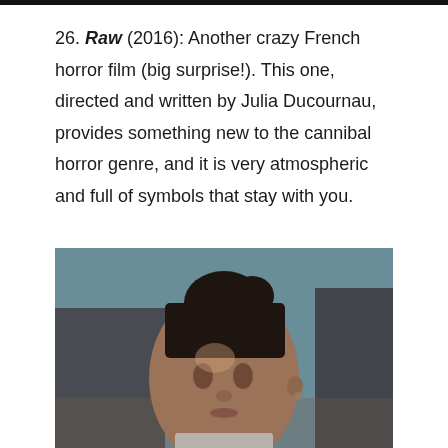[Figure (photo): Dark horizontal bar at top of page]
26. Raw (2016): Another crazy French horror film (big surprise!). This one, directed and written by Julia Ducournau, provides something new to the cannibal horror genre, and it is very atmospheric and full of symbols that stay with you.
[Figure (photo): Close-up portrait of a young woman with dark hair pulled back in a bun, wearing a white outfit, looking slightly downward with a serious expression. Background is blurred with blue sky and dark building structures.]